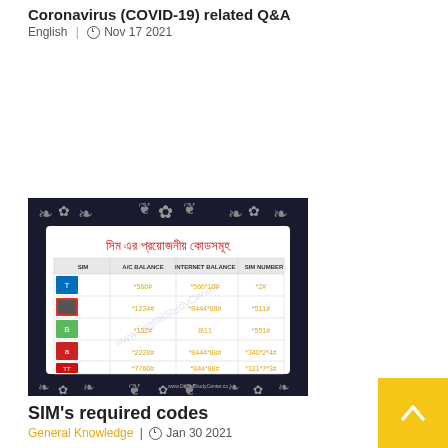Coronavirus (COVID-19) related Q&A
English  |  Nov 17 2021
[Figure (table-as-image): SIM card required codes table in Bengali, showing SIM operators with their A/C Balance, Internet Balance, and SIM Number codes. Title: সিম এর প্রয়োজনীয় কোডসমূহ. Rows for Telenor/Grameenphone, Robi, Banglalink, Airtel, and Teletalk with USSD codes like *566#, *1234#, *152#, *2228#, *7760#]
SIM's required codes
General Knowledge  |  Jan 30 2021